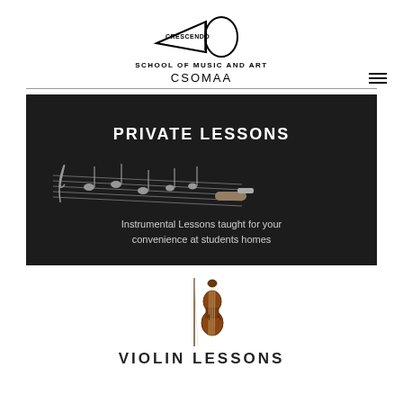[Figure (logo): Crescendo School of Music and Art logo — a megaphone/crescendo shape with text inside reading CRESCENDO]
SCHOOL OF MUSIC AND ART
CSOMAA
[Figure (photo): Dark background banner image showing chalk-drawn music notes on a blackboard with a hand holding chalk. Text overlay reads: PRIVATE LESSONS / Instrumental Lessons taught for your convenience at students homes]
[Figure (illustration): Illustration of a violin with bow]
VIOLIN LESSONS